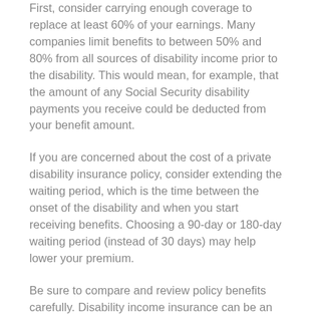First, consider carrying enough coverage to replace at least 60% of your earnings. Many companies limit benefits to between 50% and 80% from all sources of disability income prior to the disability. This would mean, for example, that the amount of any Social Security disability payments you receive could be deducted from your benefit amount.
If you are concerned about the cost of a private disability insurance policy, consider extending the waiting period, which is the time between the onset of the disability and when you start receiving benefits. Choosing a 90-day or 180-day waiting period (instead of 30 days) may help lower your premium.
Be sure to compare and review policy benefits carefully. Disability income insurance can be an affordable way to help protect your assets in the event of a disability.